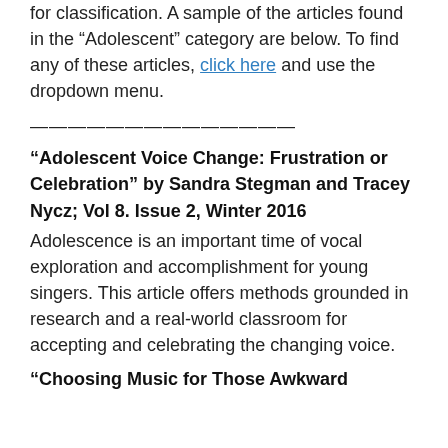for classification. A sample of the articles found in the “Adolescent” category are below. To find any of these articles, click here and use the dropdown menu.
——————————————
“Adolescent Voice Change: Frustration or Celebration” by Sandra Stegman and Tracey Nycz; Vol 8. Issue 2, Winter 2016
Adolescence is an important time of vocal exploration and accomplishment for young singers. This article offers methods grounded in research and a real-world classroom for accepting and celebrating the changing voice.
“Choosing Music for Those Awkward